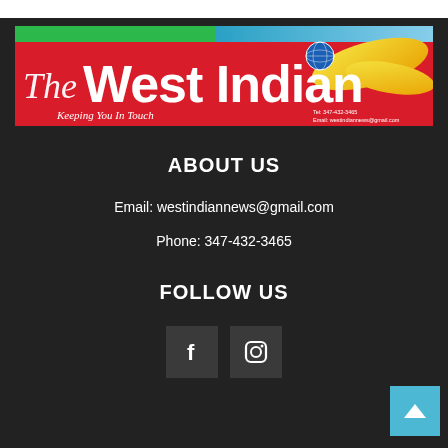[Figure (logo): The West Indian newspaper logo with tagline 'Keeping You In Touch', red and green banner with yellow swirl, globe icon, contact info Tel: 347-432-3465, Email: westindiannews@gmail.com]
ABOUT US
Email: westindiannews@gmail.com
Phone: 347-432-3465
FOLLOW US
[Figure (other): Facebook and Instagram social media icon boxes]